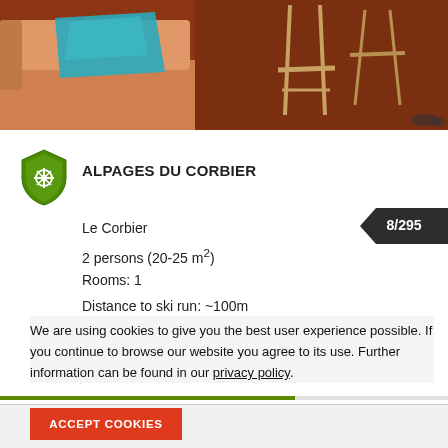[Figure (photo): Interior photo of a chalet/apartment showing a sofa with teal fabric/map on it, orange/terracotta colored furnishings, and wooden chairs/stools in background]
ALPAGES DU CORBIER
Le Corbier
2 persons (20-25 m²)
Rooms: 1
Distance to ski run: ~100m
[Figure (illustration): Amenity icons: skiing figure and swimming figure]
8/295
We are using cookies to give you the best user experience possible. If you continue to browse our website you agree to its use. Further information can be found in our privacy policy.
ACCEPT COOKIES